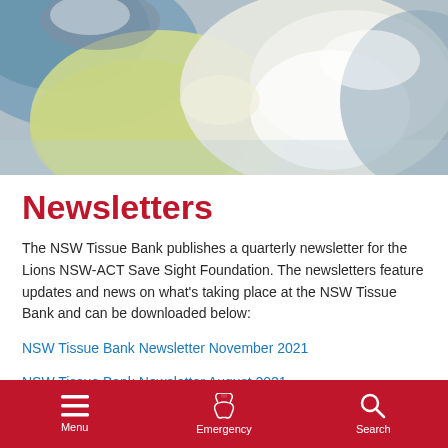[Figure (photo): Medical professional in surgical gown and mask working with medical equipment in a clinical/surgical setting]
Newsletters
The NSW Tissue Bank publishes a quarterly newsletter for the Lions NSW-ACT Save Sight Foundation. The newsletters feature updates and news on what's taking place at the NSW Tissue Bank and can be downloaded below:
NSW Tissue Bank Newsletter November 2021
NSW Tissue Bank Newsletter August 2021
Menu  Emergency  Search